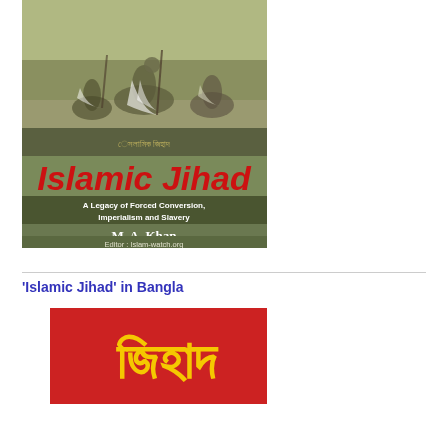[Figure (illustration): Book cover of 'Islamic Jihad: A Legacy of Forced Conversion, Imperialism and Slavery' by M. A. Khan, Editor: Islam-watch.org. Features an olive-green background with warriors on horseback at the top, a stripe of Arabic/decorative text, and bold red brush-style lettering for 'Islamic Jihad' with white subtitle text.]
'Islamic Jihad' in Bangla
[Figure (illustration): Book cover of the Bangla edition of 'Islamic Jihad', featuring a red background with large yellow Bengali script (জিহাদ) and a white vertical stripe on the left side.]